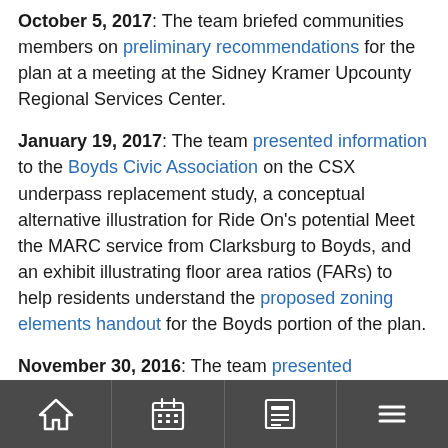October 5, 2017: The team briefed communities members on preliminary recommendations for the plan at a meeting at the Sidney Kramer Upcounty Regional Services Center.
January 19, 2017: The team presented information to the Boyds Civic Association on the CSX underpass replacement study, a conceptual alternative illustration for Ride On's potential Meet the MARC service from Clarksburg to Boyds, and an exhibit illustrating floor area ratios (FARs) to help residents understand the proposed zoning elements handout for the Boyds portion of the plan.
November 30, 2016: The team presented
[navigation bar with home, calendar, news, menu icons]